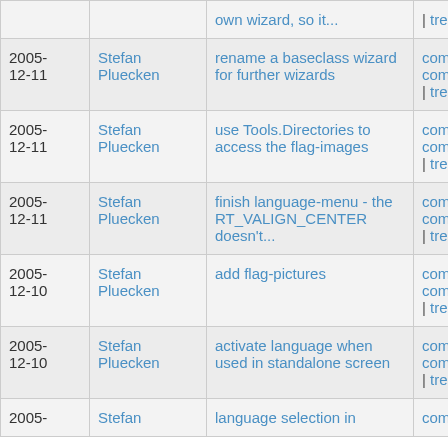| Date | Author | Message | Links |
| --- | --- | --- | --- |
|  |  | own wizard, so it... | | tree |
| 2005-12-11 | Stefan Pluecken | rename a baseclass wizard for further wizards | commit | commitdiff | tree |
| 2005-12-11 | Stefan Pluecken | use Tools.Directories to access the flag-images | commit | commitdiff | tree |
| 2005-12-11 | Stefan Pluecken | finish language-menu - the RT_VALIGN_CENTER doesn't... | commit | commitdiff | tree |
| 2005-12-10 | Stefan Pluecken | add flag-pictures | commit | commitdiff | tree |
| 2005-12-10 | Stefan Pluecken | activate language when used in standalone screen | commit | commitdiff | tree |
| 2005- | Stefan | language selection in | commit | |